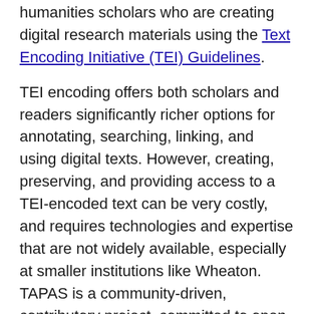humanities scholars who are creating digital research materials using the Text Encoding Initiative (TEI) Guidelines.
TEI encoding offers both scholars and readers significantly richer options for annotating, searching, linking, and using digital texts. However, creating, preserving, and providing access to a TEI-encoded text can be very costly, and requires technologies and expertise that are not widely available, especially at smaller institutions like Wheaton. TAPAS is a community-driven, contributory project, committed to open access and open-source tools and approaches for publishing and archiving. It will enable scholars to share data and interface tools with one another and with the public. The resulting archive will permit broad access and support third-party interface development.
As Scott Hamlin, Director of Research and Instruction